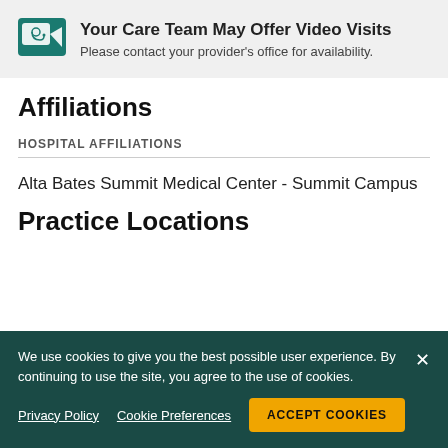[Figure (infographic): Teal video visit icon with stethoscope]
Your Care Team May Offer Video Visits
Please contact your provider's office for availability.
Affiliations
HOSPITAL AFFILIATIONS
Alta Bates Summit Medical Center - Summit Campus
Practice Locations
We use cookies to give you the best possible user experience. By continuing to use the site, you agree to the use of cookies.
Privacy Policy
Cookie Preferences
ACCEPT COOKIES